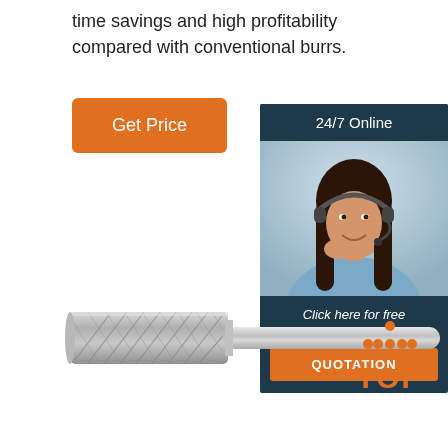time savings and high profitability compared with conventional burrs.
[Figure (other): Orange 'Get Price' button]
[Figure (other): 24/7 Online customer service chat widget showing a smiling woman with headset, with 'Click here for free chat!' text and orange QUOTATION button]
[Figure (photo): Cylindrical carbide burr / rotary file tool with crosscut pattern and shank]
[Figure (logo): Orange TOP logo with dot pattern triangle above the text TOP]